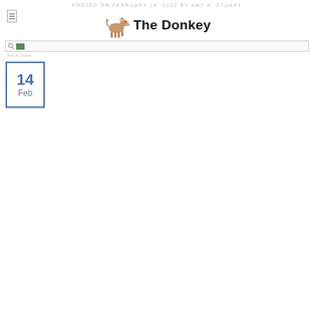POSTED ON FEBRUARY 14, 2022 BY AMY A. STUART
The Donkey
[Figure (logo): Donkey logo illustration next to 'The Donkey' text]
[Figure (screenshot): Search bar / navigation bar element]
14
Feb